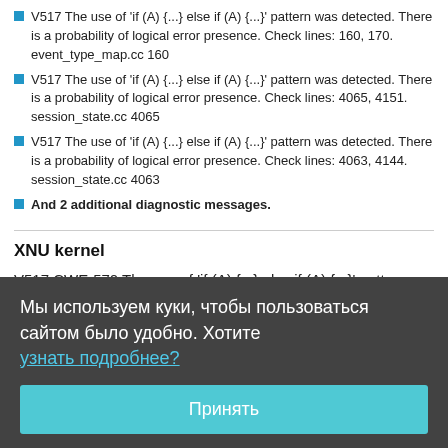V517 The use of 'if (A) {...} else if (A) {...}' pattern was detected. There is a probability of logical error presence. Check lines: 160, 170. event_type_map.cc 160
V517 The use of 'if (A) {...} else if (A) {...}' pattern was detected. There is a probability of logical error presence. Check lines: 4065, 4151. session_state.cc 4065
V517 The use of 'if (A) {...} else if (A) {...}' pattern was detected. There is a probability of logical error presence. Check lines: 4063, 4144. session_state.cc 4063
And 2 additional diagnostic messages.
XNU kernel
V517 CWE-570 The use of 'if (A) {...} else if (A) {...}' pattern was detected. There is a probability of logical error presence. Check lines: 340, 343. pf_pbuf.c 340
Мы используем куки, чтобы пользоваться сайтом было удобно. Хотите узнать подробнее?
Принять